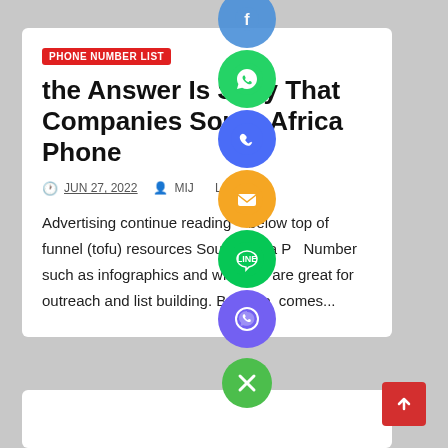PHONE NUMBER LIST
the Answer Is S…y That Companies South Africa Phone
JUN 27, 2022   MIJ…L
Advertising continue reading below top of funnel (tofu) resources South Africa P… Number such as infographics and white p… are great for outreach and list building. But whe… comes…